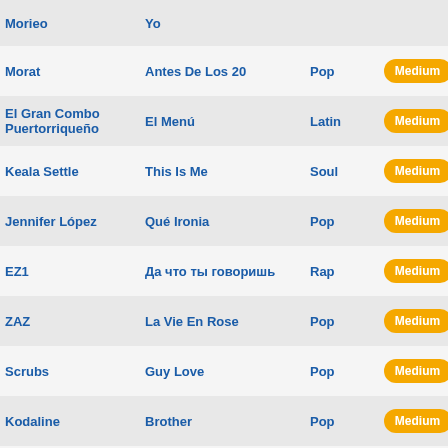| Artist | Song | Genre | Level | Action |
| --- | --- | --- | --- | --- |
| Morieo | Yo |  | Medium | Play |
| Morat | Antes De Los 20 | Pop | Medium | Play |
| El Gran Combo Puertorriqueño | El Menú | Latin | Medium | Play |
| Keala Settle | This Is Me | Soul | Medium | Play |
| Jennifer López | Qué Ironia | Pop | Medium | Play |
| EZ1 | Да что ты говоришь | Rap | Medium | Play |
| ZAZ | La Vie En Rose | Pop | Medium | Play |
| Scrubs | Guy Love | Pop | Medium | Play |
| Kodaline | Brother | Pop | Medium | Play |
| Lida Pimienta | Nada | Latin | Medium | Play |
| Alex Ubago | Sin Miedo A Nada | Latin | Medium | Play |
| Now United | Summer | Pop | Medium | Play |